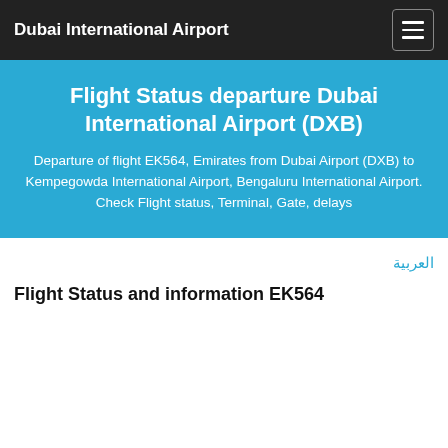Dubai International Airport
Flight Status departure Dubai International Airport (DXB)
Departure of flight EK564, Emirates from Dubai Airport (DXB) to Kempegowda International Airport, Bengaluru International Airport. Check Flight status, Terminal, Gate, delays
العربية
Flight Status and information EK564